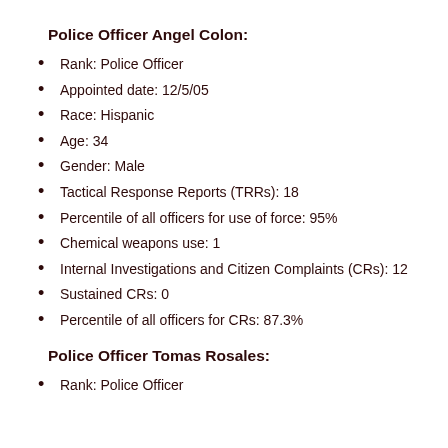Police Officer Angel Colon:
Rank: Police Officer
Appointed date: 12/5/05
Race: Hispanic
Age: 34
Gender: Male
Tactical Response Reports (TRRs): 18
Percentile of all officers for use of force: 95%
Chemical weapons use: 1
Internal Investigations and Citizen Complaints (CRs): 12
Sustained CRs: 0
Percentile of all officers for CRs: 87.3%
Police Officer Tomas Rosales:
Rank: Police Officer